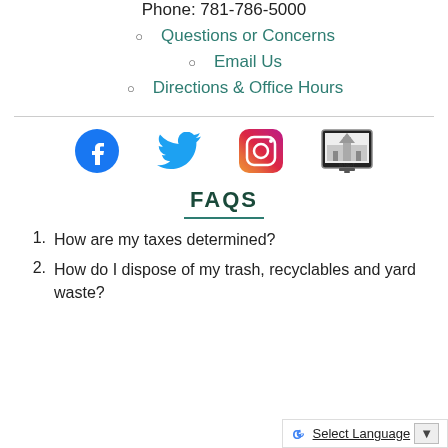Phone: 781-786-5000
Questions or Concerns
Email Us
Directions & Office Hours
[Figure (logo): Social media icons: Facebook, Twitter, Instagram, and a local TV/video channel icon]
FAQS
How are my taxes determined?
How do I dispose of my trash, recyclables and yard waste?